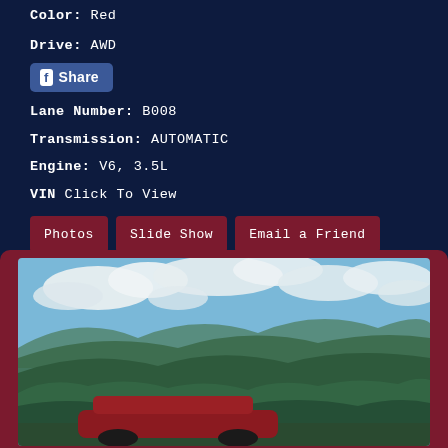Color: Red
Drive: AWD
[Figure (other): Facebook Share button]
Lane Number: B008
Transmission: AUTOMATIC
Engine: V6, 3.5L
VIN Click To View
[Figure (other): Action buttons: Photos, Slide Show, Email a Friend]
[Figure (photo): Red car parked in front of green mountain landscape with blue sky and white clouds]